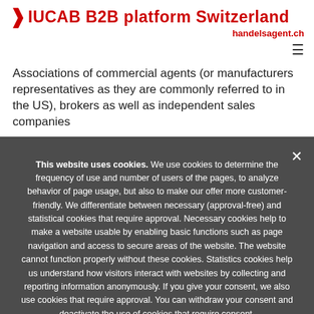IUCAB B2B platform Switzerland handelsagent.ch
Associations of commercial agents (or manufacturers representatives as they are commonly referred to in the US), brokers as well as independent sales companies
This website uses cookies. We use cookies to determine the frequency of use and number of users of the pages, to analyze behavior of page usage, but also to make our offer more customer-friendly. We differentiate between necessary (approval-free) and statistical cookies that require approval. Necessary cookies help to make a website usable by enabling basic functions such as page navigation and access to secure areas of the website. The website cannot function properly without these cookies. Statistics cookies help us understand how visitors interact with websites by collecting and reporting information anonymously. If you give your consent, we also use cookies that require approval. You can withdraw your consent and deactivate the use of cookies that require consent.
I accept cookies
I refuse cookies